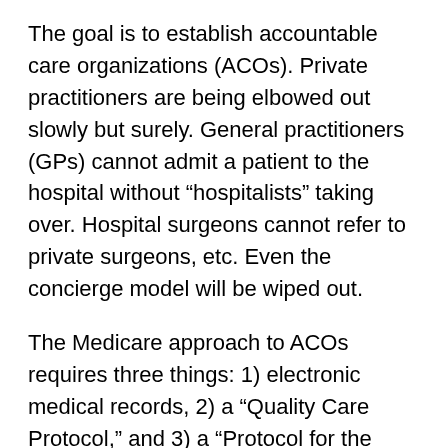The goal is to establish accountable care organizations (ACOs). Private practitioners are being elbowed out slowly but surely. General practitioners (GPs) cannot admit a patient to the hospital without “hospitalists” taking over. Hospital surgeons cannot refer to private surgeons, etc. Even the concierge model will be wiped out.
The Medicare approach to ACOs requires three things: 1) electronic medical records, 2) a “Quality Care Protocol,” and 3) a “Protocol for the Elimination of Non-Compliant Physicians.”
This is the ideal rationing system.
The computer will eventually dictate all allowed testing and treatments according to a “quality,” or more likely “cheapest way to do it,” protocol